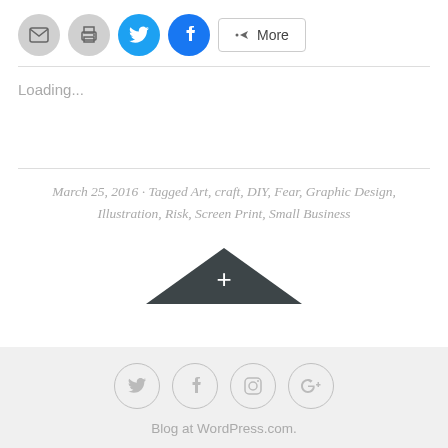[Figure (screenshot): Social share bar with email, print, Twitter, Facebook circle buttons and a More button]
Loading...
March 25, 2016 · Tagged Art, craft, DIY, Fear, Graphic Design, Illustration, Risk, Screen Print, Small Business
[Figure (other): Dark triangle/plus button widget]
Blog at WordPress.com.